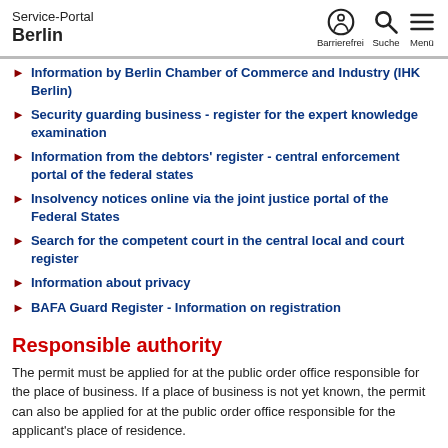Service-Portal Berlin
Information by Berlin Chamber of Commerce and Industry (IHK Berlin)
Security guarding business - register for the expert knowledge examination
Information from the debtors' register - central enforcement portal of the federal states
Insolvency notices online via the joint justice portal of the Federal States
Search for the competent court in the central local and court register
Information about privacy
BAFA Guard Register - Information on registration
Responsible authority
The permit must be applied for at the public order office responsible for the place of business. If a place of business is not yet known, the permit can also be applied for at the public order office responsible for the applicant's place of residence.